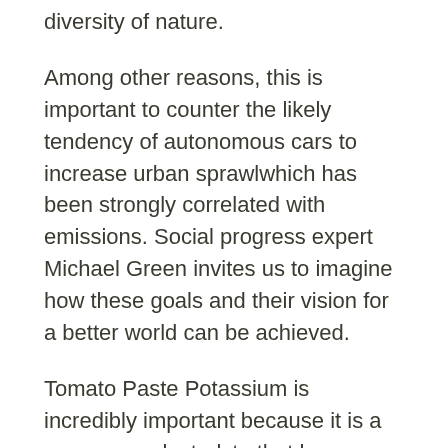diversity of nature.
Among other reasons, this is important to counter the likely tendency of autonomous cars to increase urban sprawlwhich has been strongly correlated with emissions. Social progress expert Michael Green invites us to imagine how these goals and their vision for a better world can be achieved.
Tomato Paste Potassium is incredibly important because it is a necessary electrolyte that keeps your muscles moving.
Plus, from an environmental perspective, sustainably catching wild salmon means that we need to manage all the ecosystems that support salmon production, rather than just fixing the cages that house farmed salmon.
Moreover, biodiversity contrib... (continues)